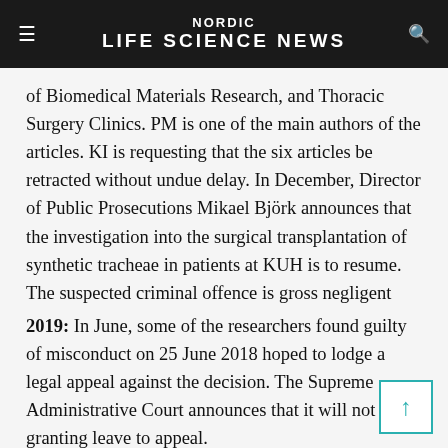NORDIC LIFE SCIENCE NEWS
of Biomedical Materials Research, and Thoracic Surgery Clinics. PM is one of the main authors of the articles. KI is requesting that the six articles be retracted without undue delay. In December, Director of Public Prosecutions Mikael Björk announces that the investigation into the surgical transplantation of synthetic tracheae in patients at KUH is to resume. The suspected criminal offence is gross negligent bodily harm.
2019: In June, some of the researchers found guilty of misconduct on 25 June 2018 hoped to lodge a legal appeal against the decision. The Supreme Administrative Court announces that it will not be granting leave to appeal.